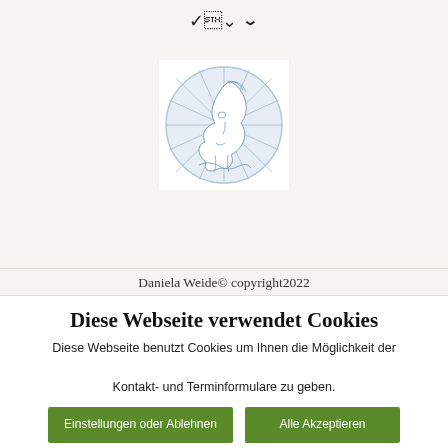[Figure (logo): Circular logo with stylized side-profile face illustration in blue-grey tones, with radiating lines and decorative elements, on a white square background]
Daniela Weide© copyright2022
Diese Webseite verwendet Cookies
Diese Webseite benutzt Cookies um Ihnen die Möglichkeit der Kontakt- und Terminformulare zu geben.
Einstellungen oder Ablehnen
Alle Akzeptieren